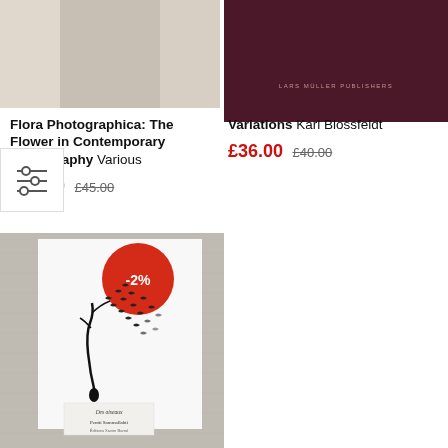[Figure (photo): Top portion of book cover for Flora Photographica, partially visible]
[Figure (photo): Dark burgundy book cover with Lars Muller Publishers text at bottom]
Flora Photographica: The Flower in Contemporary Photography Various
£40.50 £45.00
Variations Karl Blossfeldt
£36.00 £40.00
[Figure (photo): Book cover of Des oiseaux by Pentti Sammallahti, grey linen cover with white panel showing a figure and birds, -2% red discount badge]